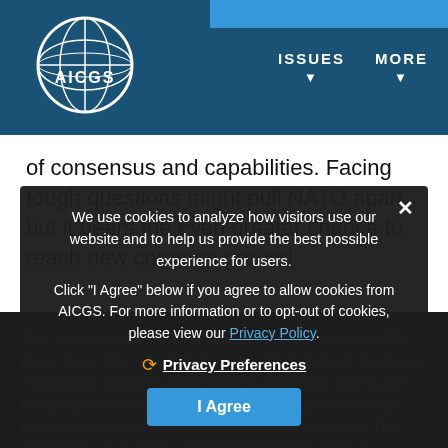[Figure (logo): AICGS logo — globe icon with circular border and AICGS text, on dark blue navigation header with ISSUES and MORE nav items]
of consensus and capabilities. Facing tough questions might pull NATO apart, but it bears the even greater chance to reach new common ground.
This requires leadership, which is in short supply in NATO these days. The U.S. is trying to lead from behind. Germany, meanwhile, has been pushed into a leadership role by the European debt crisis it still struggles with, and is unlikely to assume a more assertive stage in the military realm. The constraints on German political engagement seem to suggest: we take care of security monetarily, somebody else can do the military part. But leadership is no pick-and-choose game.
We use cookies to analyze how visitors use our website and to help us provide the best possible experience for users.

Click "I Agree" below if you agree to allow cookies from AICGS. For more information or to opt-out of cookies, please view our Privacy Policy.
Privacy Preferences
I Agree